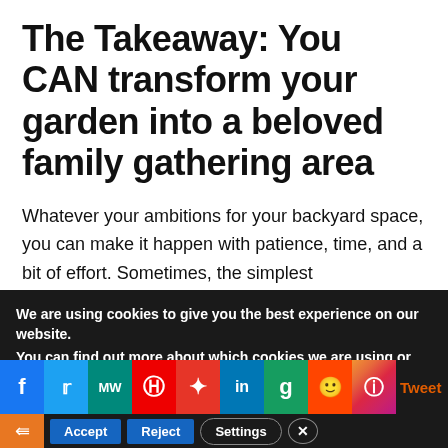The Takeaway: You CAN transform your garden into a beloved family gathering area
Whatever your ambitions for your backyard space, you can make it happen with patience, time, and a bit of effort. Sometimes, the simplest transformations can be the most effective and don't need to cost the earth to pull off. Giving your garden a makeover can bring something
We are using cookies to give you the best experience on our website.
You can find out more about which cookies we are using or
[Figure (other): Social sharing bar with icons: Facebook, Twitter, MeWe, Parler, Flipboard, LinkedIn, Goodreads, Reddit, Instagram, Tweet label, and cookie consent buttons: Accept, Reject, Settings, Close]